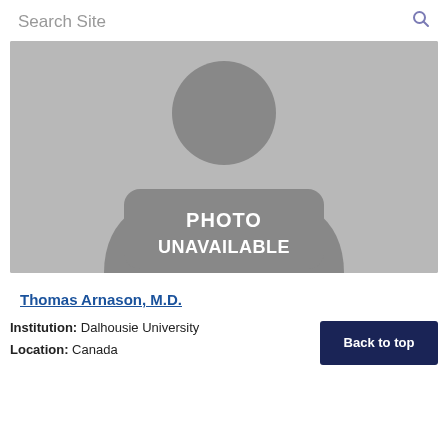Search Site
[Figure (photo): Placeholder profile image showing a generic silhouette of a person (head and shoulders) with text 'PHOTO UNAVAILABLE' overlaid on the torso area. Background is light gray, silhouette is darker gray.]
Thomas Arnason, M.D.
Institution: Dalhousie University
Location: Canada